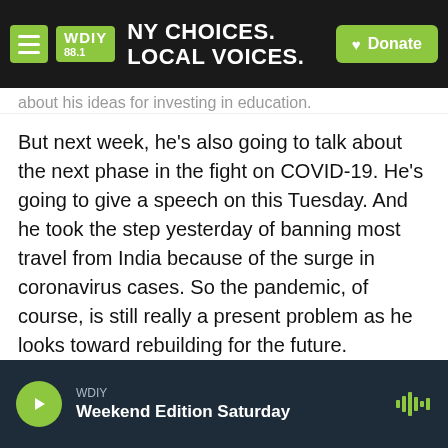WDIY 88.1 – NY CHOICES. LOCAL VOICES. [Donate]
about his ideas for investing in education.
But next week, he's also going to talk about the next phase in the fight on COVID-19. He's going to give a speech on this Tuesday. And he took the step yesterday of banning most travel from India because of the surge in coronavirus cases. So the pandemic, of course, is still really a present problem as he looks toward rebuilding for the future.
SIMON: NPR White House correspondent Franco Ordoñez. Thanks so much, Franco.
WDIY – Weekend Edition Saturday